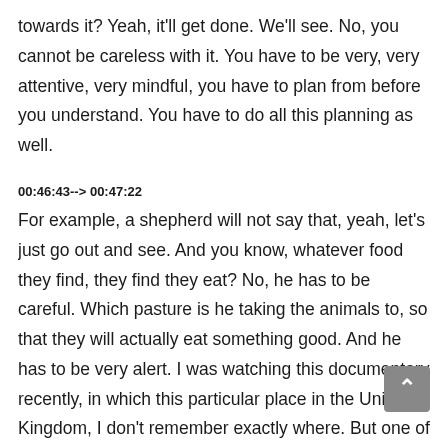towards it? Yeah, it'll get done. We'll see. No, you cannot be careless with it. You have to be very, very attentive, very mindful, you have to plan from before you understand. You have to do all this planning as well.
00:46:43--> 00:47:22
For example, a shepherd will not say that, yeah, let's just go out and see. And you know, whatever food they find, they find they eat? No, he has to be careful. Which pasture is he taking the animals to, so that they will actually eat something good. And he has to be very alert. I was watching this documentary recently, in which this particular place in the United Kingdom, I don't remember exactly where. But one of the shores, the water is such that it rises up very, very quickly. And it also goes back down very quickly as well. And the